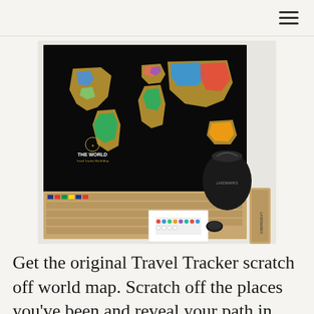≡
[Figure (photo): Product photo of a scratch-off world travel tracker map laid flat showing a black map with gold foil scratch areas, country flags along the bottom, accessories including a black drawstring pouch, sticker sheets, and a coin, with the label 'THE WORLD' visible on the map.]
Get the original Travel Tracker scratch off world map. Scratch off the places you've been and reveal your path in beautiful,